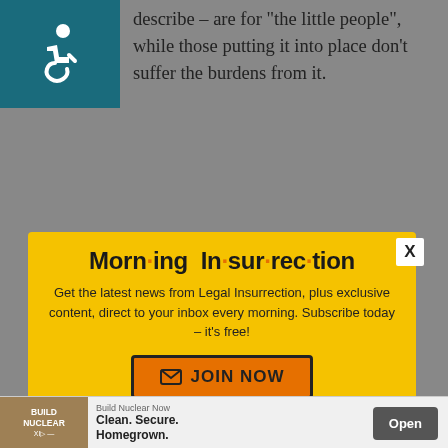[Figure (illustration): Accessibility icon - white wheelchair user symbol on teal/dark cyan background]
describe – are for "the little people", while those putting it into place don't suffer the burdens from it.
[Figure (screenshot): Modal popup with yellow background - Morning Insurrection newsletter signup. Title: 'Morn·ing In·sur·rec·tion'. Body: 'Get the latest news from Legal Insurrection, plus exclusive content, direct to your inbox every morning. Subscribe today – it's free!' Button: 'JOIN NOW']
Cherokee.
Back to top
[Figure (infographic): Ad banner: Build Nuclear Now - Clean. Secure. Homegrown. Open button]